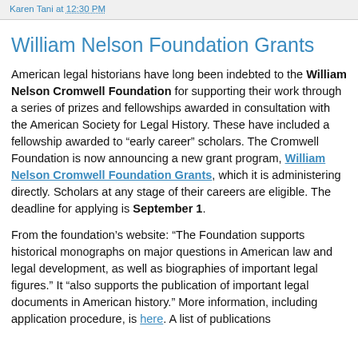Karen Tani at 12:30 PM
William Nelson Foundation Grants
American legal historians have long been indebted to the William Nelson Cromwell Foundation for supporting their work through a series of prizes and fellowships awarded in consultation with the American Society for Legal History. These have included a fellowship awarded to “early career” scholars. The Cromwell Foundation is now announcing a new grant program, William Nelson Cromwell Foundation Grants, which it is administering directly. Scholars at any stage of their careers are eligible. The deadline for applying is September 1.
From the foundation’s website: “The Foundation supports historical monographs on major questions in American law and legal development, as well as biographies of important legal figures.” It “also supports the publication of important legal documents in American history.” More information, including application procedure, is here. A list of publications